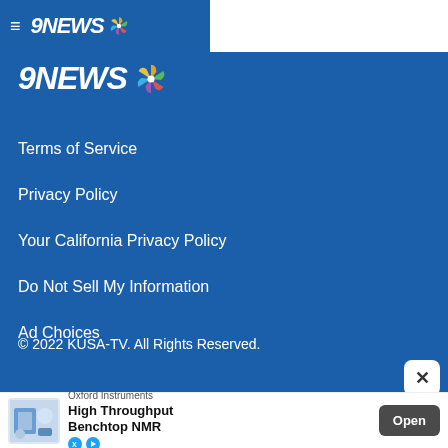9NEWS (navigation bar with hamburger menu and NBC peacock logo)
[Figure (logo): 9NEWS NBC peacock logo large, white on blue background]
Terms of Service
Privacy Policy
Your California Privacy Policy
Do Not Sell My Information
Ad Choices
© 2022 KUSA-TV. All Rights Reserved.
[Figure (screenshot): Advertisement banner: Oxford Instruments, High Throughput Benchtop NMR, with Open button]